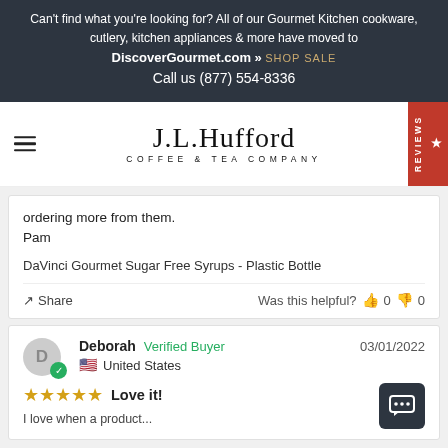Can't find what you're looking for? All of our Gourmet Kitchen cookware, cutlery, kitchen appliances & more have moved to DiscoverGourmet.com » SHOP SALE Call us (877) 554-8336
[Figure (logo): J.L. Hufford Coffee & Tea Company logo with hamburger menu icon and reviews tab]
ordering more from them.
Pam
DaVinci Gourmet Sugar Free Syrups - Plastic Bottle
Share  Was this helpful?  0  0
Deborah  Verified Buyer  03/01/2022  United States
★★★★★ Love it!
I love when a product...